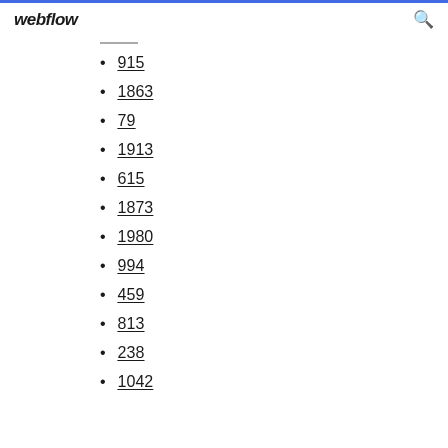webflow
915
1863
79
1913
615
1873
1980
994
459
813
238
1042